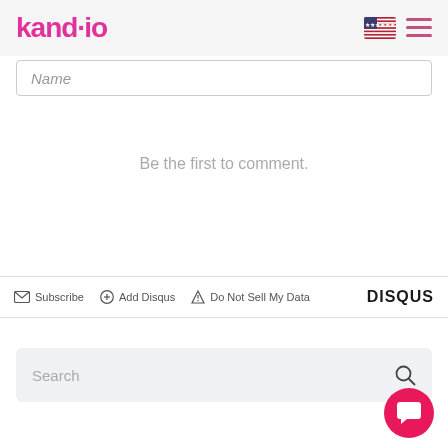[Figure (logo): kand.io logo in pink/magenta color with dot between d and i]
Name
Be the first to comment.
Subscribe  Add Disqus  Do Not Sell My Data  DISQUS
Search